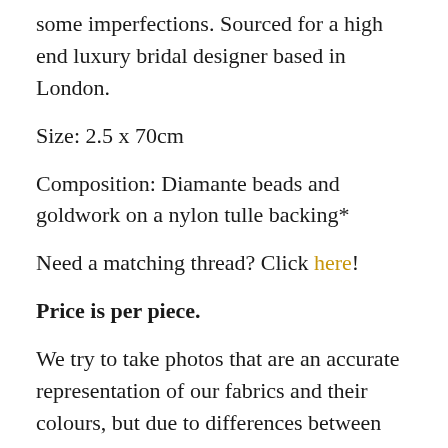some imperfections. Sourced for a high end luxury bridal designer based in London.
Size: 2.5 x 70cm
Composition: Diamante beads and goldwork on a nylon tulle backing*
Need a matching thread? Click here!
Price is per piece.
We try to take photos that are an accurate representation of our fabrics and their colours, but due to differences between devices and screens the colour may vary slightly. Unfortunately we are unable to offer samples as all of our fabrics are short run end of lines and will likely sell out by the time a sample is delivered. If you'd like to see a video of the fabric or more photos please send us an email or drop us a DM on instagram @newcrafthouse. If you are in London you can book a free fabric viewing appointment. You can find